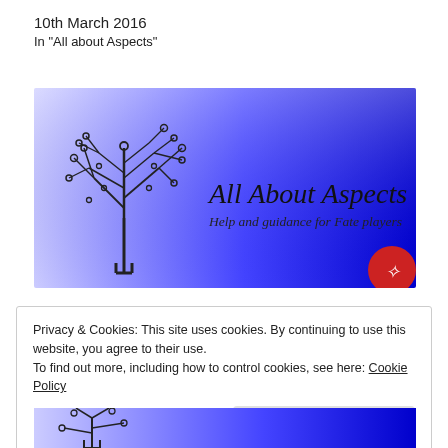10th March 2016
In "All about Aspects"
[Figure (logo): All About Aspects banner with circuit-board tree illustration on gradient blue-to-white background. Text: 'All About Aspects — Help and guidance for Fate players'. Red circular avatar icon in bottom right corner.]
Privacy & Cookies: This site uses cookies. By continuing to use this website, you agree to their use.
To find out more, including how to control cookies, see here: Cookie Policy
Close and accept